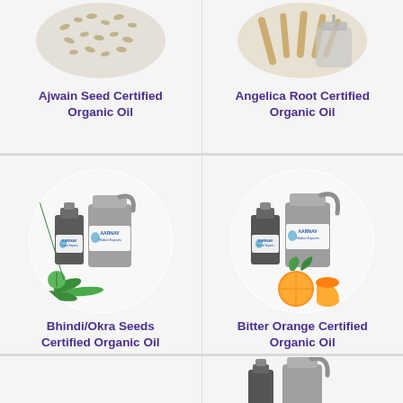[Figure (photo): Ajwain seeds product image with two aluminum bottles labeled AARNAV Global Exports]
Ajwain Seed Certified Organic Oil
[Figure (photo): Angelica root product image with two aluminum bottles labeled AARNAV Global Exports]
Angelica Root Certified Organic Oil
[Figure (photo): Bhindi/Okra seeds product image with two aluminum bottles labeled AARNAV Global Exports and green okra pods]
Bhindi/Okra Seeds Certified Organic Oil
[Figure (photo): Bitter Orange product image with two aluminum bottles labeled AARNAV Global Exports and oranges]
Bitter Orange Certified Organic Oil
[Figure (photo): Two aluminum bottles labeled AARNAV Global Exports at bottom of page]